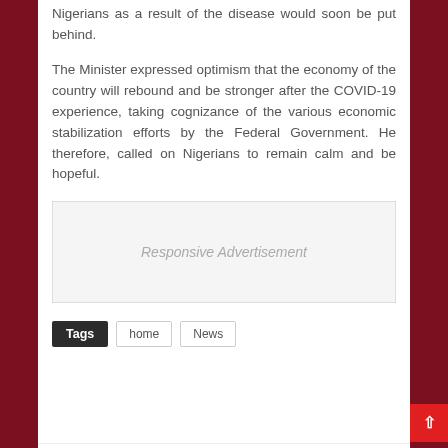Nigerians as a result of the disease would soon be put behind.
The Minister expressed optimism that the economy of the country will rebound and be stronger after the COVID-19 experience, taking cognizance of the various economic stabilization efforts by the Federal Government. He therefore, called on Nigerians to remain calm and be hopeful.
[Figure (other): Responsive Advertisement placeholder box]
Tags  home  News